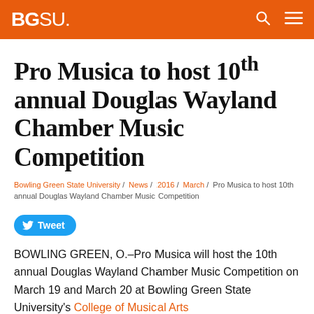BGSU
Pro Musica to host 10th annual Douglas Wayland Chamber Music Competition
Bowling Green State University / News / 2016 / March / Pro Musica to host 10th annual Douglas Wayland Chamber Music Competition
Tweet
BOWLING GREEN, O.–Pro Musica will host the 10th annual Douglas Wayland Chamber Music Competition on March 19 and March 20 at Bowling Green State University's College of Musical Arts